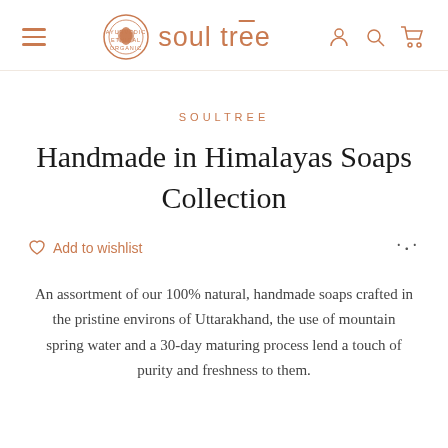soultree — navigation bar with hamburger menu, logo, and icons
SOULTREE
Handmade in Himalayas Soaps Collection
Add to wishlist
An assortment of our 100% natural, handmade soaps crafted in the pristine environs of Uttarakhand, the use of mountain spring water and a 30-day maturing process lend a touch of purity and freshness to them.